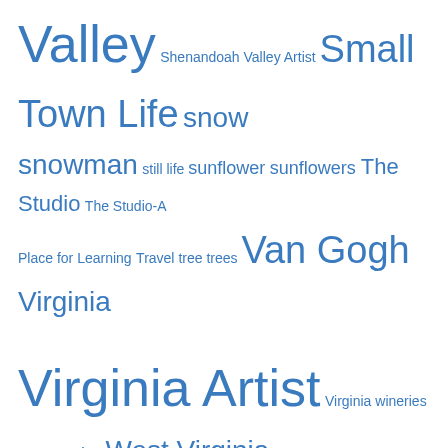Valley Shenandoah Valley Artist Small Town Life snow snowman still life sunflower sunflowers The Studio The Studio-A Place for Learning Travel tree trees Van Gogh Virginia Virginia Artist Virginia wineries watercolor West Virginia
Archives
August 2022
July 2022
June 2022
May 2022
April 2022
March 2022
February 2022
January 2022
December 2021
November 2021